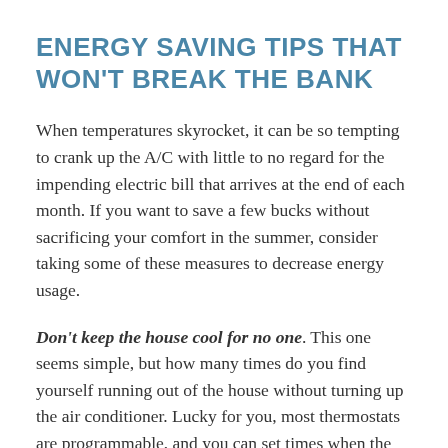ENERGY SAVING TIPS THAT WON'T BREAK THE BANK
When temperatures skyrocket, it can be so tempting to crank up the A/C with little to no regard for the impending electric bill that arrives at the end of each month. If you want to save a few bucks without sacrificing your comfort in the summer, consider taking some of these measures to decrease energy usage.
Don't keep the house cool for no one. This one seems simple, but how many times do you find yourself running out of the house without turning up the air conditioner. Lucky for you, most thermostats are programmable, and you can set times when the temperature should